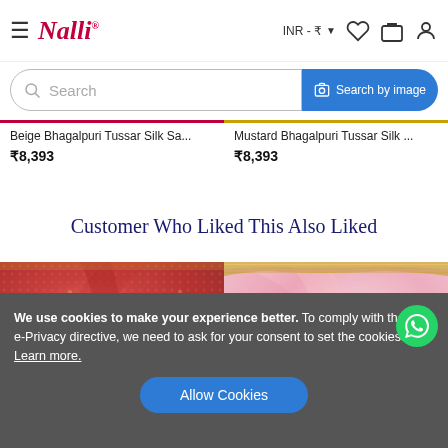Nalli — INR ₹
Search
Search by image
Beige Bhagalpuri Tussar Silk Sa... ₹8,393
Mustard Bhagalpuri Tussar Silk ... ₹8,393
Customer Who Liked This Also Liked
[Figure (photo): Red/coral patterned silk saree draped fabric]
[Figure (photo): Pink organza saree with gold border fabric]
We use cookies to make your experience better. To comply with the new e-Privacy directive, we need to ask for your consent to set the cookies. Learn more.
Allow Cookies